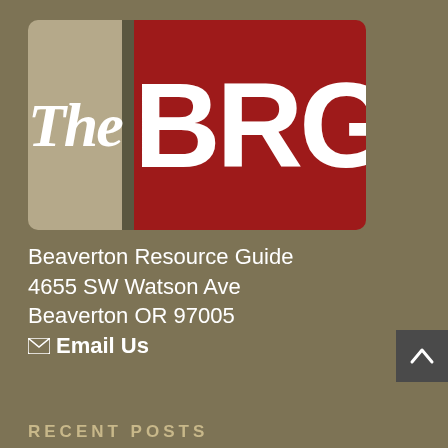[Figure (logo): The BRG logo — left tan section with italic white 'The', dark divider, right red section with bold white 'BRG']
Beaverton Resource Guide
4655 SW Watson Ave
Beaverton OR 97005
✉ Email Us
RECENT POSTS